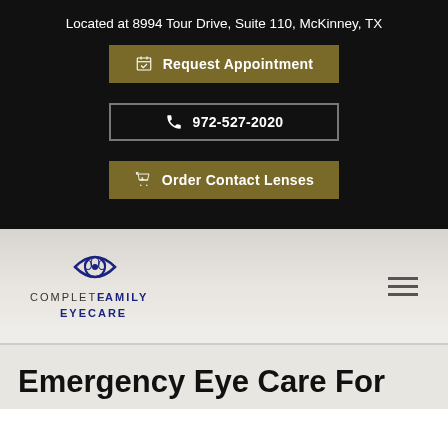Located at 8994 Tour Drive, Suite 110, McKinney, TX
Request Appointment
972-527-2020
Order Contact Lenses
[Figure (logo): Complete Family Eyecare logo with eye and family silhouette illustration]
Emergency Eye Care For